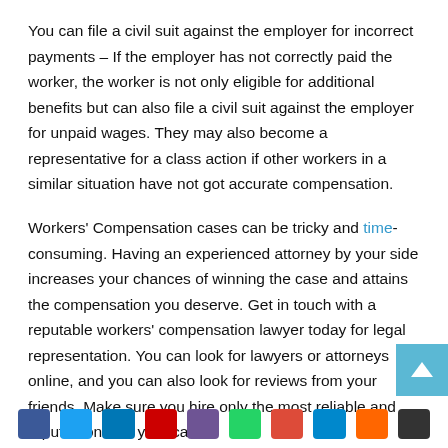You can file a civil suit against the employer for incorrect payments – If the employer has not correctly paid the worker, the worker is not only eligible for additional benefits but can also file a civil suit against the employer for unpaid wages. They may also become a representative for a class action if other workers in a similar situation have not got accurate compensation.
Workers' Compensation cases can be tricky and time-consuming. Having an experienced attorney by your side increases your chances of winning the case and attains the compensation you deserve. Get in touch with a reputable workers' compensation lawyer today for legal representation. You can look for lawyers or attorneys online, and you can also look for reviews from your friends. Make sure you hire only the most reliable and reputed one for your case.